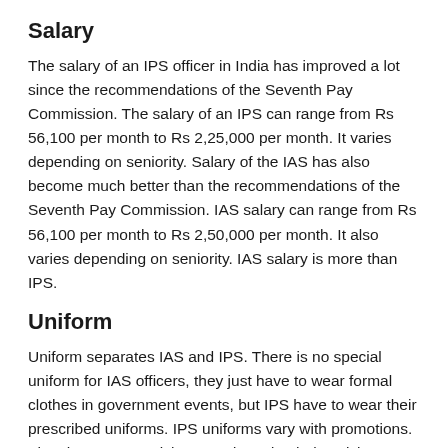Salary
The salary of an IPS officer in India has improved a lot since the recommendations of the Seventh Pay Commission. The salary of an IPS can range from Rs 56,100 per month to Rs 2,25,000 per month. It varies depending on seniority. Salary of the IAS has also become much better than the recommendations of the Seventh Pay Commission. IAS salary can range from Rs 56,100 per month to Rs 2,50,000 per month. It also varies depending on seniority. IAS salary is more than IPS.
Uniform
Uniform separates IAS and IPS. There is no special uniform for IAS officers, they just have to wear formal clothes in government events, but IPS have to wear their prescribed uniforms. IPS uniforms vary with promotions. They have to put sticks, swords and Ashoka sticks on their shoulders with every rank. The general public recognizes not the IAS but the IPS from clothes.
Top Posts